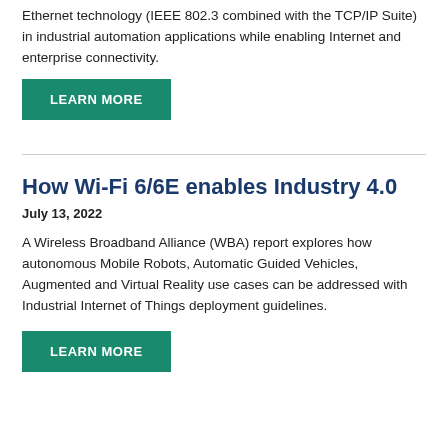Ethernet technology (IEEE 802.3 combined with the TCP/IP Suite) in industrial automation applications while enabling Internet and enterprise connectivity.
LEARN MORE
How Wi-Fi 6/6E enables Industry 4.0
July 13, 2022
A Wireless Broadband Alliance (WBA) report explores how autonomous Mobile Robots, Automatic Guided Vehicles, Augmented and Virtual Reality use cases can be addressed with Industrial Internet of Things deployment guidelines.
LEARN MORE